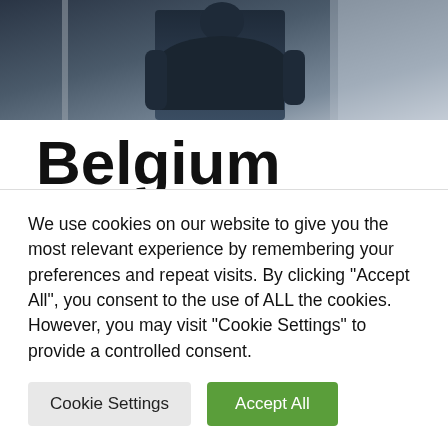[Figure (photo): A person wearing dark clothing photographed from behind near a doorway, with a dark blue-grey background, the lower portion of the image cropped.]
Belgium Begins Monkeypox Quarantines,
We use cookies on our website to give you the most relevant experience by remembering your preferences and repeat visits. By clicking “Accept All”, you consent to the use of ALL the cookies. However, you may visit "Cookie Settings" to provide a controlled consent.